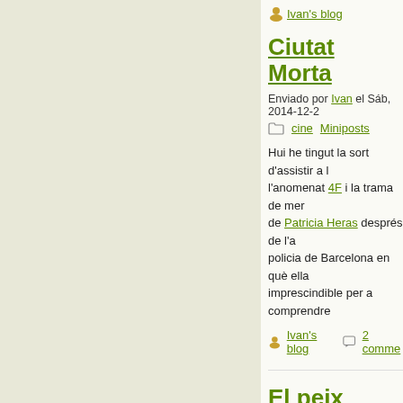Ivan's blog
Ciutat Morta
Enviado por Ivan el Sáb, 2014-12-2
cine  Miniposts
Hui he tingut la sort d'assistir a l'anomenat 4F i la trama de mer de Patricia Heras després de l'a policia de Barcelona en què ella imprescindible per a comprendre
Ivan's blog  2 comme
El peix hexadecim
Enviado por Ivan el Jue, 2014-06-0
friki  humor  Miniposts
Escoltava hui el podcast de cien que es sap que tenia dits, i en te